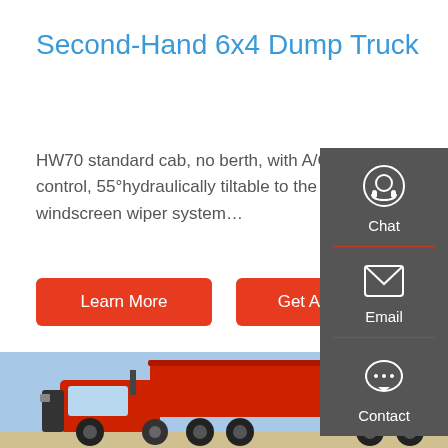Second-Hand 6x4 Dump Truck
HW70 standard cab, no berth, with A/C all steel forward control, 55°hydraulically tiltable to the front,2-arm windscreen wiper system…
Learn More
Get A Quote
[Figure (photo): Red 6x4 dump truck photographed from side-front angle against a blue sky background]
[Figure (infographic): Dark grey sidebar with Chat, Email, and Contact icons and labels]